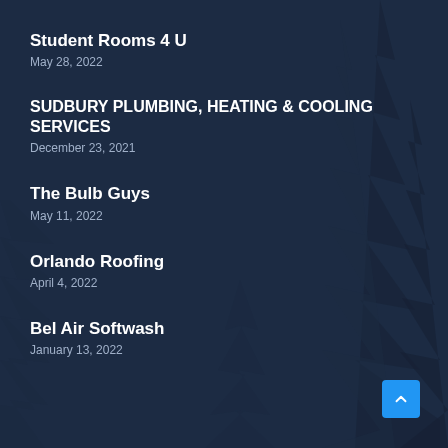Student Rooms 4 U
May 28, 2022
SUDBURY PLUMBING, HEATING & COOLING SERVICES
December 23, 2021
The Bulb Guys
May 11, 2022
Orlando Roofing
April 4, 2022
Bel Air Softwash
January 13, 2022